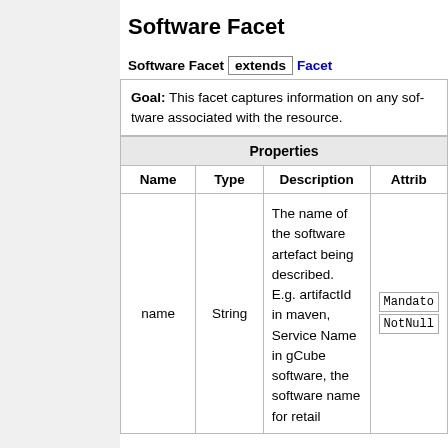Software Facet
Software Facet extends Facet
Goal: This facet captures information on any software associated with the resource.
| Name | Type | Description | Attrib... |
| --- | --- | --- | --- |
| name | String | The name of the software artefact being described. E.g. artifactId in maven, Service Name in gCube software, the software name for retail | Mandatory NotNull |